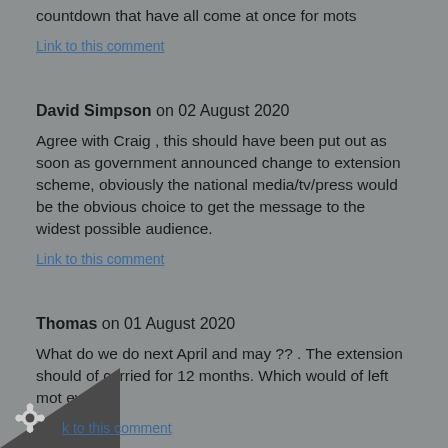...countdown that have all come at once for mots
Link to this comment
David Simpson on 02 August 2020
Agree with Craig , this should have been put out as soon as government announced change to extension scheme, obviously the national media/tv/press would be the obvious choice to get the message to the widest possible audience.
Link to this comment
Thomas on 01 August 2020
What do we do next April and may ?? . The extension should of carried for 12 months. Which would of left mot even
Link to this comment